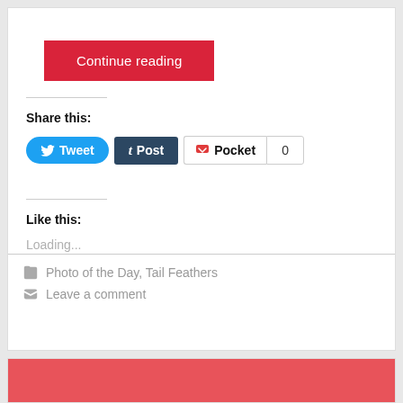Continue reading
Share this:
[Figure (screenshot): Tweet button, Tumblr Post button, Pocket button with count 0]
Like this:
Loading...
Photo of the Day, Tail Feathers
Leave a comment